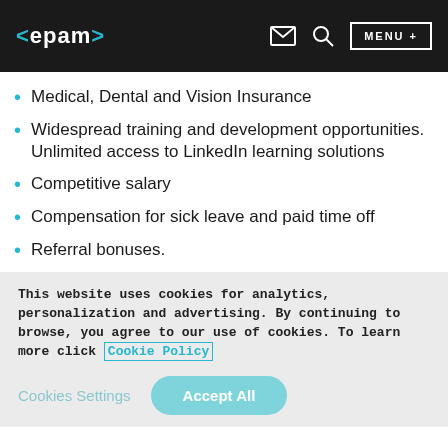<epam> [mail icon] [search icon] MENU +
Medical, Dental and Vision Insurance
Widespread training and development opportunities. Unlimited access to LinkedIn learning solutions
Competitive salary
Compensation for sick leave and paid time off
Referral bonuses.
This website uses cookies for analytics, personalization and advertising. By continuing to browse, you agree to our use of cookies. To learn more click Cookie Policy
Cookies Settings  Accept All